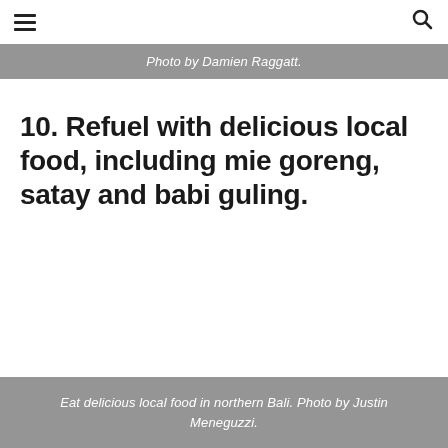≡  🔍
Photo by Damien Raggatt.
10. Refuel with delicious local food, including mie goreng, satay and babi guling.
Eat delicious local food in northern Bali. Photo by Justin Meneguzzi.